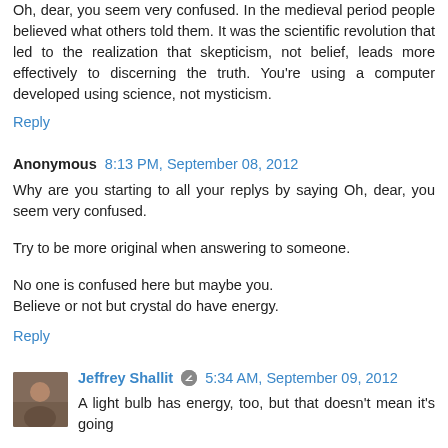Oh, dear, you seem very confused. In the medieval period people believed what others told them. It was the scientific revolution that led to the realization that skepticism, not belief, leads more effectively to discerning the truth. You're using a computer developed using science, not mysticism.
Reply
Anonymous 8:13 PM, September 08, 2012
Why are you starting to all your replys by saying Oh, dear, you seem very confused.
Try to be more original when answering to someone.
No one is confused here but maybe you.
Believe or not but crystal do have energy.
Reply
Jeffrey Shallit 5:34 AM, September 09, 2012
A light bulb has energy, too, but that doesn't mean it's going